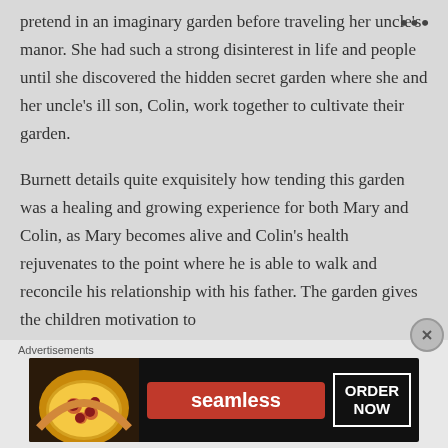pretend in an imaginary garden before traveling her uncle's manor. She had such a strong disinterest in life and people until she discovered the hidden secret garden where she and her uncle's ill son, Colin, work together to cultivate their garden.
Burnett details quite exquisitely how tending this garden was a healing and growing experience for both Mary and Colin, as Mary becomes alive and Colin's health rejuvenates to the point where he is able to walk and reconcile his relationship with his father. The garden gives the children motivation to
Advertisements
[Figure (other): Seamless food delivery advertisement banner showing pizza on the left, a red 'seamless' logo in the center, and an 'ORDER NOW' button outlined in white on a dark background.]